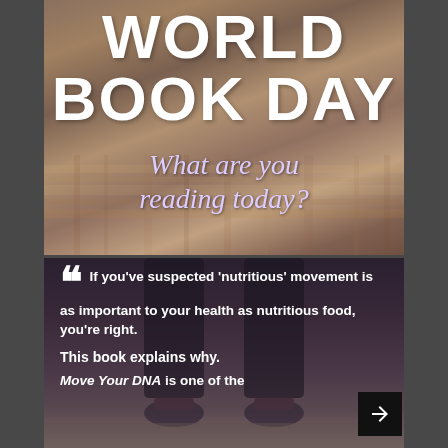[Figure (photo): Background photo of piles of books on a table, blurred/bokeh effect, with large bold white text overlay reading WORLD BOOK DAY and subtitle What are you reading today? in white/lavender italic serif font]
WORLD BOOK DAY
What are you reading today?
[Figure (photo): Background photo of a person's legs/feet in dark athletic wear, dark moody background, with white bold text overlay containing a quote about nutritious movement and a book recommendation]
““ If you've suspected 'nutritious' movement is as important to your health as nutritious food, you're right.
This book explains why.
Move Your DNA is one of the